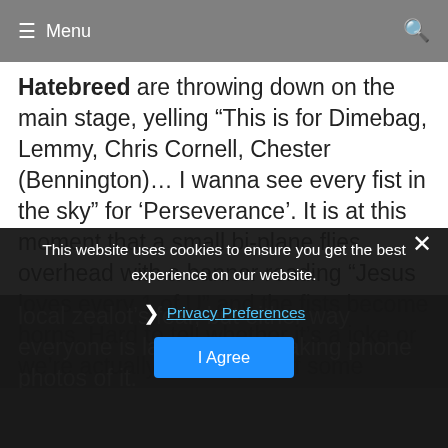≡ Menu
Hatebreed are throwing down on the main stage, yelling “This is for Dimebag, Lemmy, Chris Cornell, Chester (Bennington)… I wanna see every fist in the sky” for ‘Perseverance’. It is at this moment that a small bi-plane flies overhead with a banner reading “Jesus loves every 1 of U” and the fists become horns. Hard to tell whether it’s a joke or we’re actually the subject of some local zealot’s fear, but either way everyone is laughing and taking phone photos of it.
This website uses cookies to ensure you get the best experience on our website.
❯ Privacy Preferences
I Agree
In This Moment bring the strange and unusual next, with ranging from priestess costumes, skulls and pentagrams